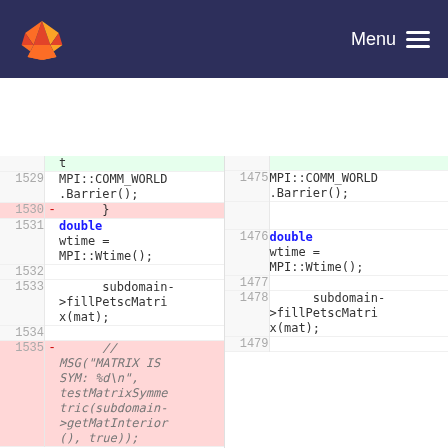GitLab navigation bar with logo and Menu
[Figure (screenshot): Code diff view showing two panels side by side with line numbers. Left panel shows removed code (pink) and right panel shows context. Lines 1529-1535+ on left, 1475-1479 on right. Code includes MPI::COMM_WORLD.Barrier(), double wtime = MPI::Wtime(), subdomain->fillPetscMatrix(mat), and a removed comment block about MSG MATRIX IS SYM.]